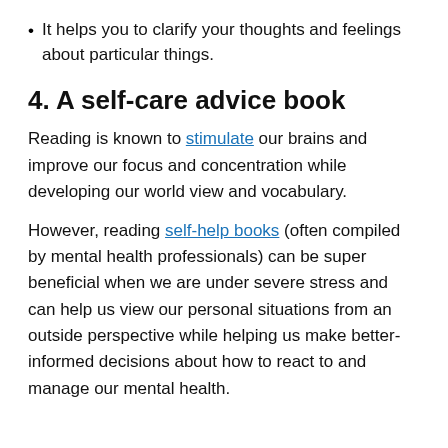It helps you to clarify your thoughts and feelings about particular things.
4. A self-care advice book
Reading is known to stimulate our brains and improve our focus and concentration while developing our world view and vocabulary.
However, reading self-help books (often compiled by mental health professionals) can be super beneficial when we are under severe stress and can help us view our personal situations from an outside perspective while helping us make better-informed decisions about how to react to and manage our mental health.